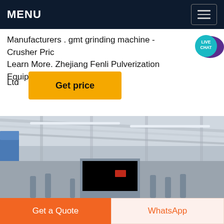MENU
Manufacturers . gmt grinding machine - Crusher Price Learn More. Zhejiang Fenli Pulverization Equipment Co., Ltd
[Figure (other): Live Chat speech bubble badge with text LIVE CHAT]
[Figure (other): Get price yellow button]
[Figure (photo): Industrial factory interior showing machinery, pipes, ventilation ducts, and steel roof structure with blue silo on the left]
[Figure (other): Get a Quote orange button and WhatsApp light button at the bottom of the page]